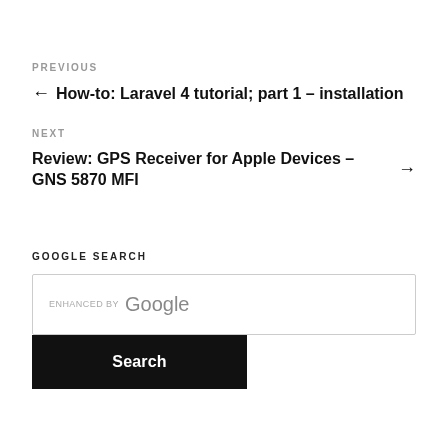PREVIOUS
← How-to: Laravel 4 tutorial; part 1 – installation
NEXT
Review: GPS Receiver for Apple Devices – GNS 5870 MFI →
GOOGLE SEARCH
ENHANCED BY Google
Search